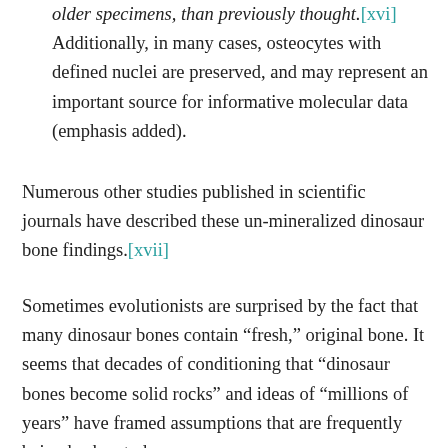older specimens, than previously thought.[xvi] Additionally, in many cases, osteocytes with defined nuclei are preserved, and may represent an important source for informative molecular data (emphasis added).
Numerous other studies published in scientific journals have described these un-mineralized dinosaur bone findings.[xvii]
Sometimes evolutionists are surprised by the fact that many dinosaur bones contain “fresh,” original bone. It seems that decades of conditioning that “dinosaur bones become solid rocks” and ideas of “millions of years” have framed assumptions that are frequently being broken today.